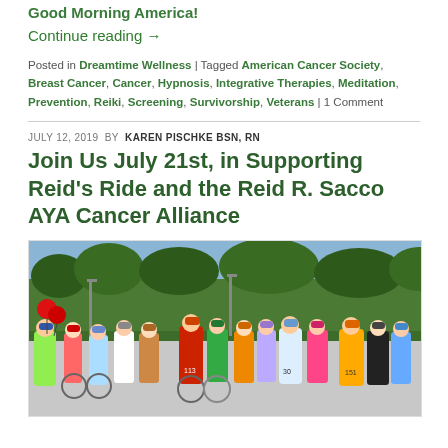Good Morning America!
Continue reading →
Posted in Dreamtime Wellness | Tagged American Cancer Society, Breast Cancer, Cancer, Hypnosis, Integrative Therapies, Meditation, Prevention, Reiki, Screening, Survivorship, Veterans | 1 Comment
JULY 12, 2019 BY KAREN PISCHKE BSN, RN
Join Us July 21st, in Supporting Reid's Ride and the Reid R. Sacco AYA Cancer Alliance
[Figure (photo): Large group of cyclists wearing helmets and numbered bibs at the start of a charity bike ride. Red balloons visible on the left, trees in the background. Participants include men and women in colorful cycling gear. Bib numbers visible include 30, 113, 151.]